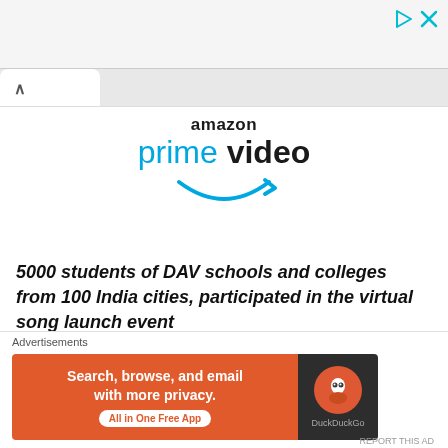[Figure (screenshot): Top ad bar with play and close icons in cyan/teal color]
[Figure (screenshot): Browser tab with up chevron navigation element]
[Figure (logo): Amazon Prime Video logo with 'amazon' in dark text above 'prime video' in blue, with a smile/arrow graphic beneath]
5000 students of DAV schools and colleges from 100 India cities, participated in the virtual song launch event
Advertisements
[Figure (screenshot): DuckDuckGo advertisement banner: orange left side with text 'Search, browse, and email with more privacy. All in One Free App' and dark right side with DuckDuckGo logo]